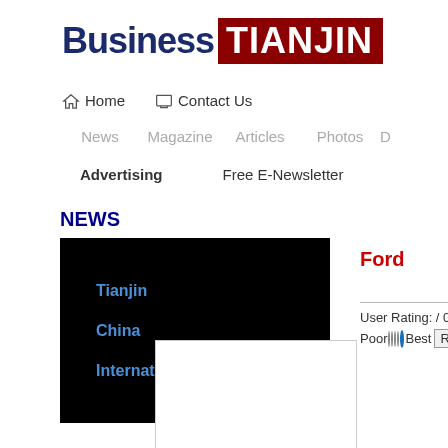[Figure (logo): Business Tianjin logo: 'Business' in dark navy bold text, 'TIANJIN' in white bold text on dark red background]
Home   Contact Us
News   Magazine   Articles   Photos   D...
Advertising   Free E-Newsletter
NEWS
Tianjin
China
International
Ford
User Rating: / 0
Poor○○○○●Best  Rate